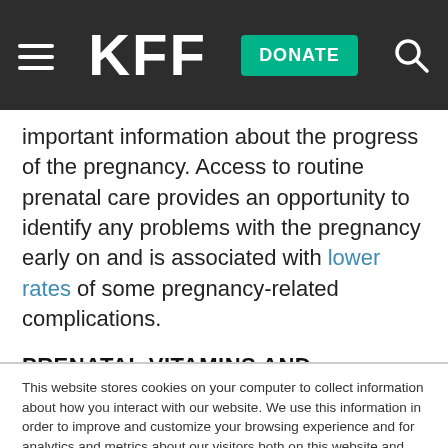KFF | DONATE
important information about the progress of the pregnancy. Access to routine prenatal care provides an opportunity to identify any problems with the pregnancy early on and is associated with lower rates of some pregnancy-related complications.
PRENATAL VITAMINS AND ULTRASOUNDS
This website stores cookies on your computer to collect information about how you interact with our website. We use this information in order to improve and customize your browsing experience and for analytics and metrics about our visitors both on this website and other media. To find out more about the cookies we use, see our Privacy Policy.
Accept